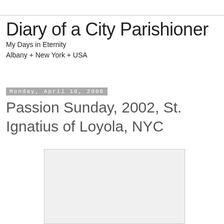Diary of a City Parishioner
My Days in Eternity
Albany + New York + USA
Monday, April 10, 2006
Passion Sunday, 2002, St. Ignatius of Loyola, NYC
[Figure (photo): White/light gray image placeholder rectangle]